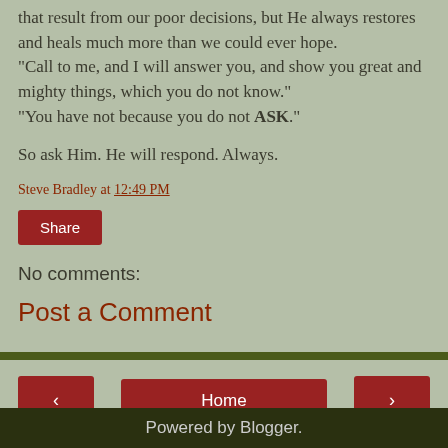that result from our poor decisions, but He always restores and heals much more than we could ever hope.
"Call to me, and I will answer you, and show you great and mighty things, which you do not know."
"You have not because you do not ASK."
So ask Him. He will respond. Always.
Steve Bradley at 12:49 PM
Share
No comments:
Post a Comment
Home
View web version
Powered by Blogger.